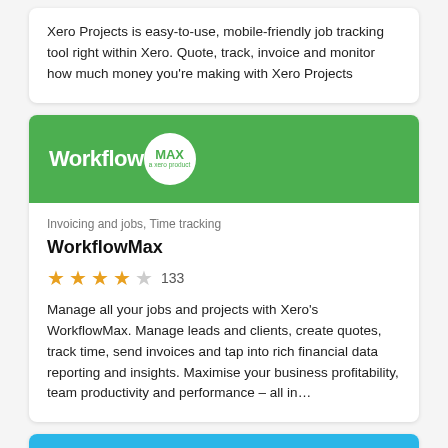Xero Projects is easy-to-use, mobile-friendly job tracking tool right within Xero. Quote, track, invoice and monitor how much money you're making with Xero Projects
[Figure (logo): WorkflowMax logo on green background — 'Workflow' in white bold text, 'MAX' in green text inside a white circle, with 'a xero product' tagline below]
Invoicing and jobs, Time tracking
WorkflowMax
★★★★☆ 133
Manage all your jobs and projects with Xero's WorkflowMax. Manage leads and clients, create quotes, track time, send invoices and tap into rich financial data reporting and insights. Maximise your business profitability, team productivity and performance – all in…